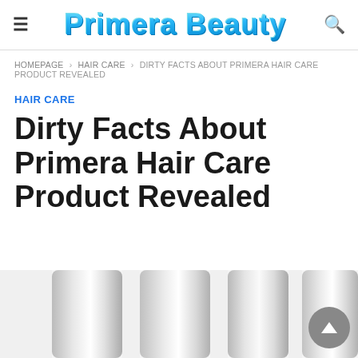Primera Beauty
HOMEPAGE > HAIR CARE > DIRTY FACTS ABOUT PRIMERA HAIR CARE PRODUCT REVEALED
HAIR CARE
Dirty Facts About Primera Hair Care Product Revealed
[Figure (photo): Bottom portion of silver/metallic cylindrical hair care product bottles, cropped, on white background]